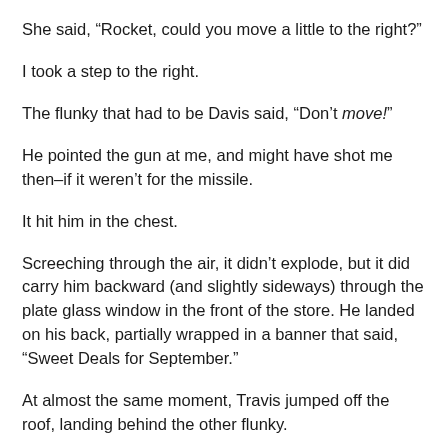She said, “Rocket, could you move a little to the right?”
I took a step to the right.
The flunky that had to be Davis said, “Don’t move!”
He pointed the gun at me, and might have shot me then–if it weren’t for the missile.
It hit him in the chest.
Screeching through the air, it didn’t explode, but it did carry him backward (and slightly sideways) through the plate glass window in the front of the store. He landed on his back, partially wrapped in a banner that said, “Sweet Deals for September.”
At almost the same moment, Travis jumped off the roof, landing behind the other flunky.